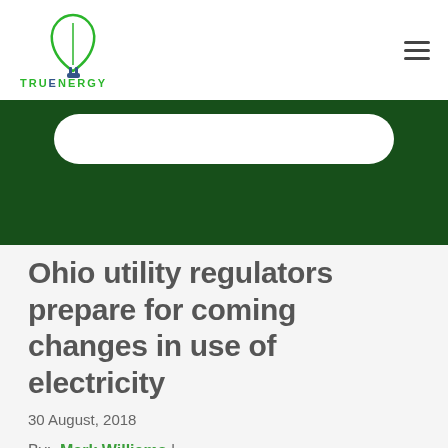[Figure (logo): TruEnergy logo — green leaf/bulb icon above 'TRUENERGY' text in green with a plug symbol]
Ohio utility regulators prepare for coming changes in use of electricity
30 August, 2018
By:  Mark Williams  |
A wave of change is coming in the ways